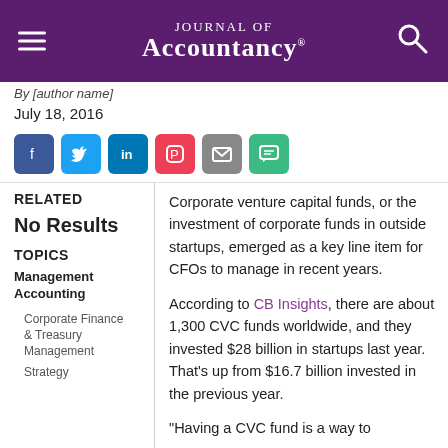Journal of Accountancy
By [author name]
July 18, 2016
[Figure (other): Social share buttons: Facebook, Twitter, LinkedIn, Pocket, Email, SMS]
RELATED
No Results
TOPICS
Management Accounting
Corporate Finance & Treasury Management
Strategy
Corporate venture capital funds, or the investment of corporate funds in outside startups, emerged as a key line item for CFOs to manage in recent years.
According to CB Insights, there are about 1,300 CVC funds worldwide, and they invested $28 billion in startups last year. That's up from $16.7 billion invested in the previous year.
"Having a CVC fund is a way to